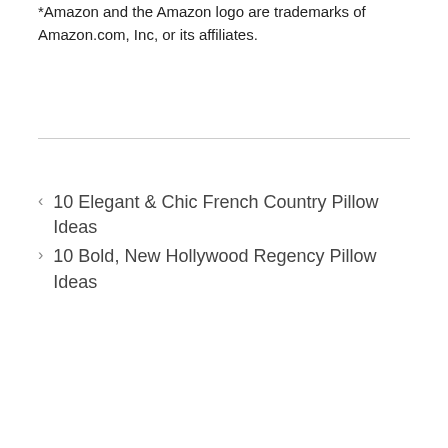*Amazon and the Amazon logo are trademarks of Amazon.com, Inc, or its affiliates.
10 Elegant & Chic French Country Pillow Ideas
10 Bold, New Hollywood Regency Pillow Ideas